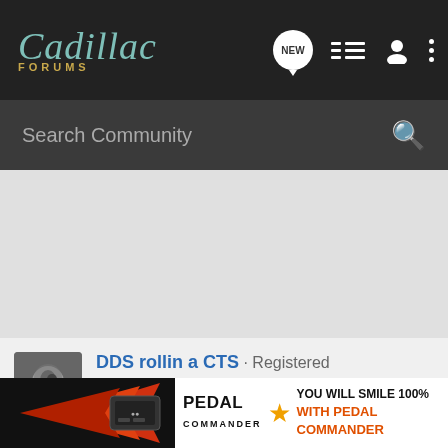Cadillac Forums
Search Community
DDS rollin a CTS · Registered
2007 CTS-V, 2001 Honda Shadow Sabre
Joined Sep 19, 2005 · 1,639 Posts
#8 · Dec 8, 2005
[Figure (advertisement): Pedal Commander advertisement banner with logo, gold star, and text 'YOU WILL SMILE 100% WITH PEDAL COMMANDER' on orange/white background. Left side shows arrows and device on dark background.]